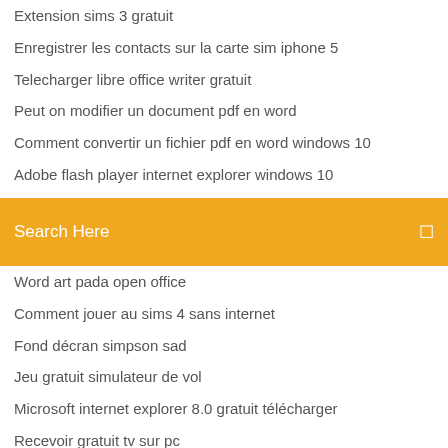Extension sims 3 gratuit
Enregistrer les contacts sur la carte sim iphone 5
Telecharger libre office writer gratuit
Peut on modifier un document pdf en word
Comment convertir un fichier pdf en word windows 10
Adobe flash player internet explorer windows 10
Assassins creed unity all map locations
[Figure (screenshot): Orange search bar with text 'Search Here' and a search icon on the right]
Word art pada open office
Comment jouer au sims 4 sans internet
Fond décran simpson sad
Jeu gratuit simulateur de vol
Microsoft internet explorer 8.0 gratuit télécharger
Recevoir gratuit tv sur pc
Dragon ball z ultimate tenkaichi pc license key
Faire video avec photo et musique iphone
Nvidia geforce g210 driver windows 7 32 bit
Quel logiciel pour telecharger musique gratuit